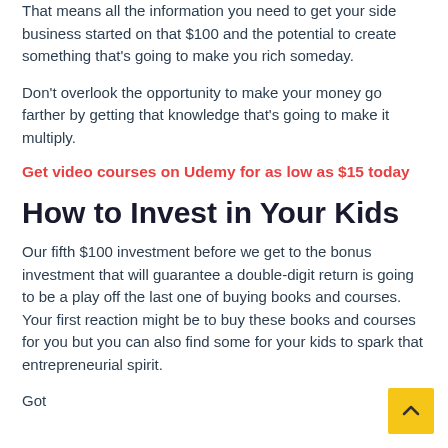That means all the information you need to get your side business started on that $100 and the potential to create something that's going to make you rich someday.
Don't overlook the opportunity to make your money go farther by getting that knowledge that's going to make it multiply.
Get video courses on Udemy for as low as $15 today
How to Invest in Your Kids
Our fifth $100 investment before we get to the bonus investment that will guarantee a double-digit return is going to be a play off the last one of buying books and courses. Your first reaction might be to buy these books and courses for you but you can also find some for your kids to spark that entrepreneurial spirit.
Got